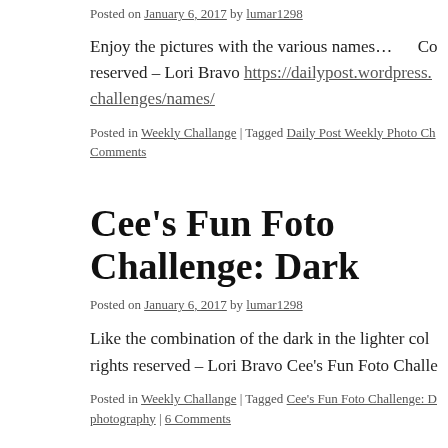Posted on January 6, 2017 by lumar1298
Enjoy the pictures with the various names…     Co reserved – Lori Bravo https://dailypost.wordpress. challenges/names/
Posted in Weekly Challange | Tagged Daily Post Weekly Photo Ch Comments
Cee's Fun Foto Challenge: Dark
Posted on January 6, 2017 by lumar1298
Like the combination of the dark in the lighter col rights reserved – Lori Bravo Cee's Fun Foto Challe
Posted in Weekly Challange | Tagged Cee's Fun Foto Challenge: D photography | 6 Comments
Let There be Peace on Earth